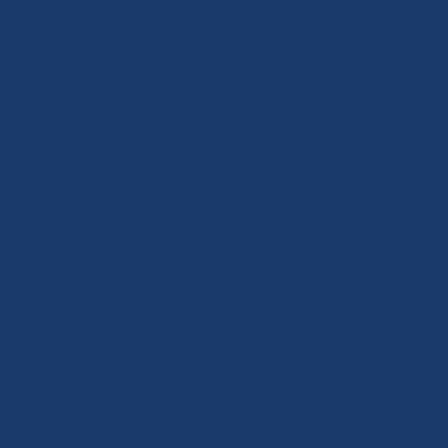ghounds March 21, 2022 at 1:59 am  What continue